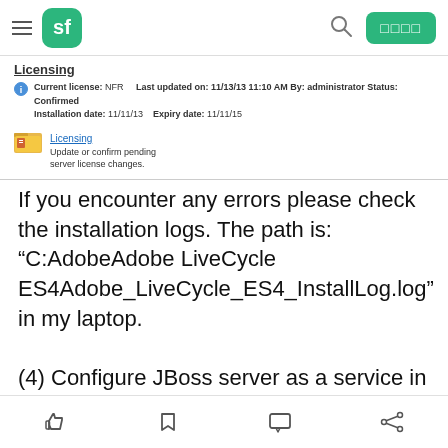sf (logo) | search | login
Licensing
Current license: NFR   Last updated on: 11/13/13 11:10 AM By: administrator Status: Confirmed
Installation date: 11/11/13   Expiry date: 11/11/15
Licensing - Update or confirm pending server license changes.
If you encounter any errors please check the installation logs. The path is: “C:AdobeAdobe LiveCycle ES4Adobe_LiveCycle_ES4_InstallLog.log” in my laptop.

(4) Configure JBoss server as a service in OS. You can find how to do this in document in path “C:AdobeAdobe LiveCycle ES4jbossbinREADME-
like | bookmark | comment | share